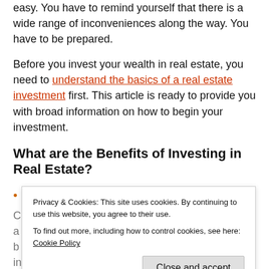easy. You have to remind yourself that there is a wide range of inconveniences along the way. You have to be prepared.
Before you invest your wealth in real estate, you need to understand the basics of a real estate investment first. This article is ready to provide you with broad information on how to begin your investment.
What are the Benefits of Investing in Real Estate?
Leverage
(partial text obscured by cookie banner)
[Figure (screenshot): Cookie consent banner overlay reading: Privacy & Cookies: This site uses cookies. By continuing to use this website, you agree to their use. To find out more, including how to control cookies, see here: Cookie Policy. With a 'Close and accept' button.]